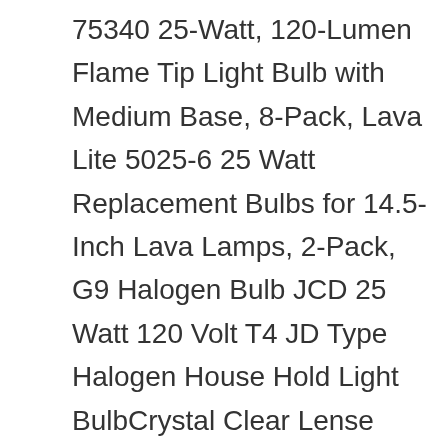75340 25-Watt, 120-Lumen Flame Tip Light Bulb with Medium Base, 8-Pack, Lava Lite 5025-6 25 Watt Replacement Bulbs for 14.5-Inch Lava Lamps, 2-Pack, G9 Halogen Bulb JCD 25 Watt 120 Volt T4 JD Type Halogen House Hold Light BulbCrystal Clear Lense Hanging Pendant Accent Type Spot Down Lamp Chandelier Sconce Fixture Lighting 10 Pack, Betus [Original Replacement] Long Lasting 25 Watt Dimmable E12 Socket Incandescent Candelabra Salt Lamp Bulb - Value Pack of 12, GE Lighting 75339 Amber Flame Shaped Bulb, 25W, 2-Pack, Satco Products S3601 120V Stubby 25-Watt R14 Light Bulb, Clear, GE Lighting Soft White 66105 25-Watt, 215-Lumen Bent Tip Light Bulb